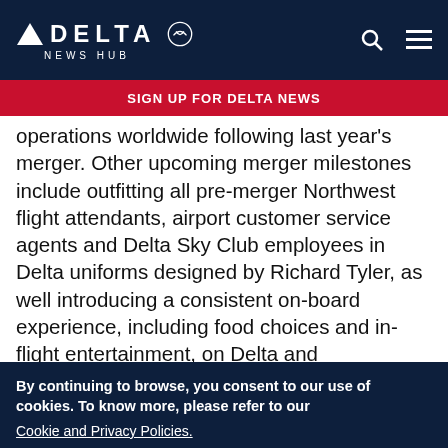DELTA NEWS HUB
SIGN UP FOR DELTA NEWS
operations worldwide following last year's merger. Other upcoming merger milestones include outfitting all pre-merger Northwest flight attendants, airport customer service agents and Delta Sky Club employees in Delta uniforms designed by Richard Tyler, as well introducing a consistent on-board experience, including food choices and in-flight entertainment, on Delta and
By continuing to browse, you consent to our use of cookies. To know more, please refer to our Cookie and Privacy Policies.
I AGREE   No, thanks